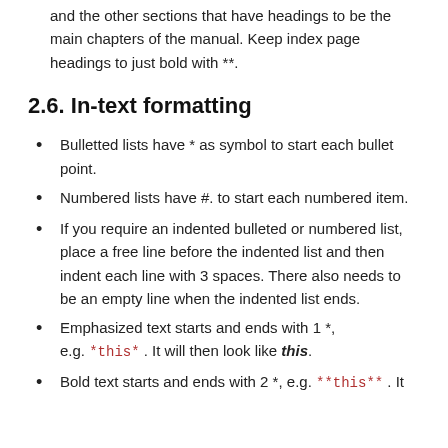and the other sections that have headings to be the main chapters of the manual. Keep index page headings to just bold with **.
2.6. In-text formatting
Bulletted lists have * as symbol to start each bullet point.
Numbered lists have #. to start each numbered item.
If you require an indented bulleted or numbered list, place a free line before the indented list and then indent each line with 3 spaces. There also needs to be an empty line when the indented list ends.
Emphasized text starts and ends with 1 *, e.g. *this* . It will then look like this.
Bold text starts and ends with 2 *, e.g. **this** . It